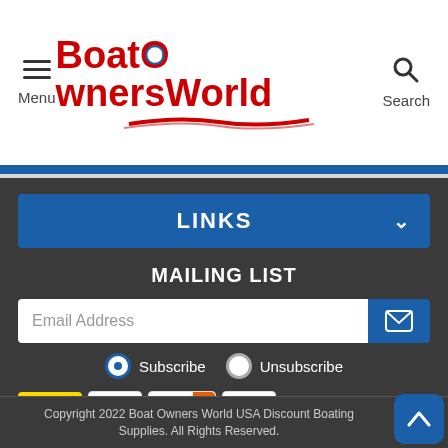Boat Owners World — Menu | Search
LINKS
MAILING LIST
Email Address
Subscribe   Unsubscribe
[Figure (logo): Payment method icons: PayPal, Visa, Discover, Mastercard]
Copyright 2022 Boat Owners World USA Discount Boating Supplies. All Rights Reserved.